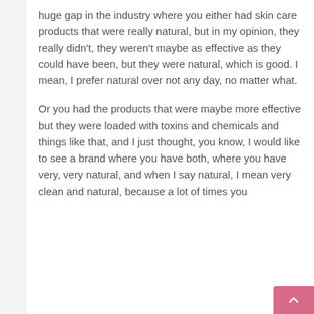huge gap in the industry where you either had skin care products that were really natural, but in my opinion, they really didn't, they weren't maybe as effective as they could have been, but they were natural, which is good. I mean, I prefer natural over not any day, no matter what.
Or you had the products that were maybe more effective but they were loaded with toxins and chemicals and things like that, and I just thought, you know, I would like to see a brand where you have both, where you have very, very natural, and when I say natural, I mean very clean and natural, because a lot of times you